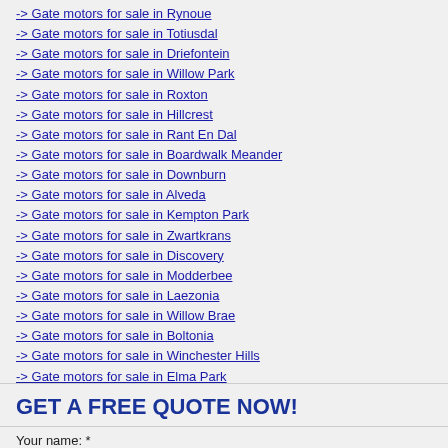-> Gate motors for sale in Rynoue
-> Gate motors for sale in Totiusdal
-> Gate motors for sale in Driefontein
-> Gate motors for sale in Willow Park
-> Gate motors for sale in Roxton
-> Gate motors for sale in Hillcrest
-> Gate motors for sale in Rant En Dal
-> Gate motors for sale in Boardwalk Meander
-> Gate motors for sale in Downburn
-> Gate motors for sale in Alveda
-> Gate motors for sale in Kempton Park
-> Gate motors for sale in Zwartkrans
-> Gate motors for sale in Discovery
-> Gate motors for sale in Modderbee
-> Gate motors for sale in Laezonia
-> Gate motors for sale in Willow Brae
-> Gate motors for sale in Boltonia
-> Gate motors for sale in Winchester Hills
-> Gate motors for sale in Elma Park
GET A FREE QUOTE NOW!
Your name: *